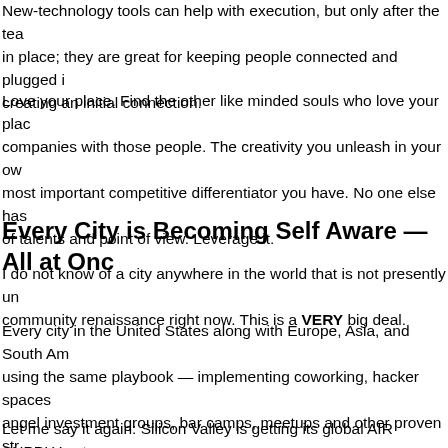New-technology tools can help with execution, but only after the tea in place; they are great for keeping people connected and plugged i creating an initial connection.
Love your place. Find the other like minded souls who love your plac companies with those people. The creativity you unleash in your ow most important competitive differentiator you have. No one else has of talents and point of view. Leverage it.
Every City is Becoming Self Aware — All at Onc
I do not know of a city anywhere in the world that is not presently un community renaissance right now. This is a VERY big deal.
Every city in the United States along with Europe, Asia, and South Am using the same playbook — implementing coworking, hacker spaces angel investment groups, bar camps, meetups and other proven str have the effect of cutting off the oxygen supply to Silicon Valley.
Let me say it again: Silicon Valley is getting its global AIR SUPPLY cut